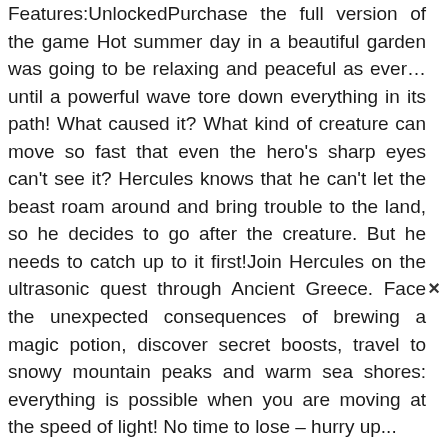Features:UnlockedPurchase the full version of the game Hot summer day in a beautiful garden was going to be relaxing and peaceful as ever…until a powerful wave tore down everything in its path! What caused it? What kind of creature can move so fast that even the hero's sharp eyes can't see it? Hercules knows that he can't let the beast roam around and bring trouble to the land, so he decides to go after the creature. But he needs to catch up to it first!Join Hercules on the ultrasonic quest through Ancient Greece. Face the unexpected consequences of brewing a magic potion, discover secret boosts, travel to snowy mountain peaks and warm sea shores: everything is possible when you are moving at the speed of light! No time to lose – hurry up...